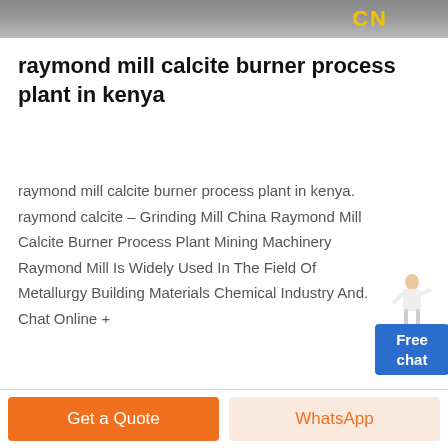[Figure (photo): Top banner image, dark/grey background with yellow 'CN' text visible on the right side]
raymond mill calcite burner process plant in kenya
raymond mill calcite burner process plant in kenya. raymond calcite – Grinding Mill China Raymond Mill Calcite Burner Process Plant Mining Machinery Raymond Mill Is Widely Used In The Field Of Metallurgy Building Materials Chemical Industry And. Chat Online +
[Figure (illustration): Free chat widget with a female figure illustration and a blue box labeled 'Free chat']
→
Get a Quote | WhatsApp